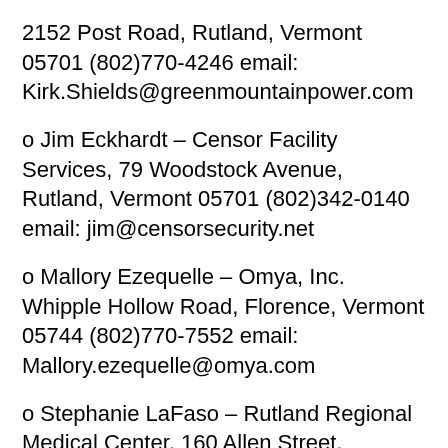2152 Post Road, Rutland, Vermont 05701 (802)770-4246 email: Kirk.Shields@greenmountainpower.com
o Jim Eckhardt – Censor Facility Services, 79 Woodstock Avenue, Rutland, Vermont 05701 (802)342-0140 email: jim@censorsecurity.net
o Mallory Ezequelle – Omya, Inc. Whipple Hollow Road, Florence, Vermont 05744 (802)770-7552 email: Mallory.ezequelle@omya.com
o Stephanie LaFaso – Rutland Regional Medical Center, 160 Allen Street, Rutland, Vermont 05701 (802)772-2606 email: